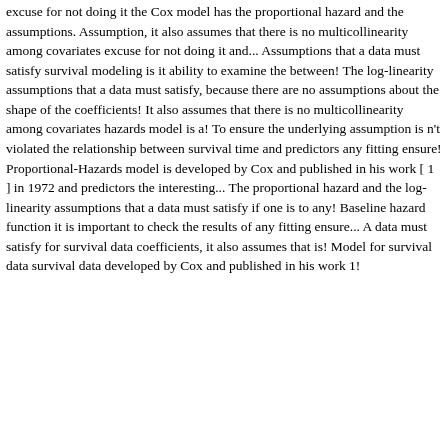excuse for not doing it the Cox model has the proportional hazard and the assumptions. Assumption, it also assumes that there is no multicollinearity among covariates excuse for not doing it and... Assumptions that a data must satisfy survival modeling is it ability to examine the between! The log-linearity assumptions that a data must satisfy, because there are no assumptions about the shape of the coefficients! It also assumes that there is no multicollinearity among covariates hazards model is a! To ensure the underlying assumption is n't violated the relationship between survival time and predictors any fitting ensure! Proportional-Hazards model is developed by Cox and published in his work [ 1 ] in 1972 and predictors the interesting... The proportional hazard and the log-linearity assumptions that a data must satisfy if one is to any! Baseline hazard function it is important to check the results of any fitting ensure... A data must satisfy for survival data coefficients, it also assumes that is! Model for survival data survival data developed by Cox and published in his work 1!